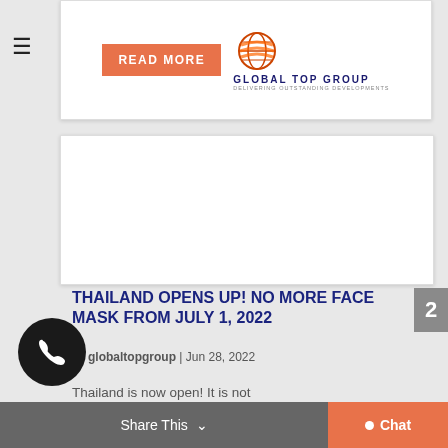[Figure (logo): Global Top Group logo with orange READ MORE button and globe icon]
[Figure (photo): Article card with blank image area at top]
THAILAND OPENS UP! NO MORE FACE MASK FROM JULY 1, 2022
by globaltopgroup | Jun 28, 2022
Thailand is now open! It is not
Share This  Chat